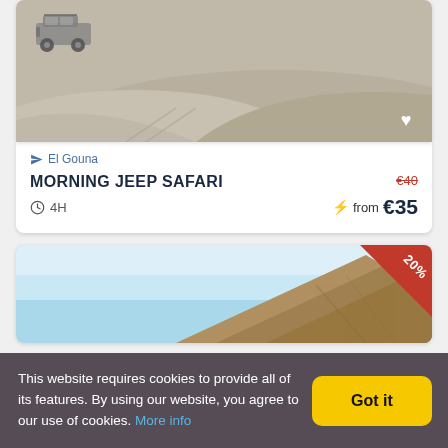[Figure (photo): A jeep/SUV on sandy desert dunes, muted tan colors]
El Gouna
MORNING JEEP SAFARI
€40 (strikethrough) from €35
4H
[Figure (photo): Rocky mountain/pyramid shape against blue sky, 20% discount badge in top right corner]
This website requires cookies to provide all of its features. By using our website, you agree to our use of cookies. More info